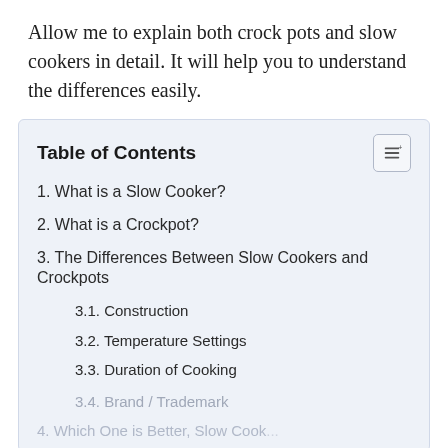Allow me to explain both crock pots and slow cookers in detail. It will help you to understand the differences easily.
Table of Contents
1. What is a Slow Cooker?
2. What is a Crockpot?
3. The Differences Between Slow Cookers and Crockpots
3.1. Construction
3.2. Temperature Settings
3.3. Duration of Cooking
3.4. Brand / Trademark
4. Which One is Better, Slow Cooker...